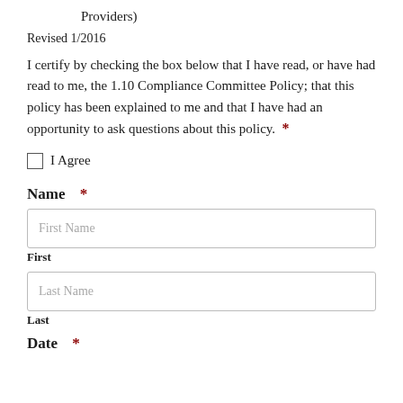Providers)
Revised 1/2016
I certify by checking the box below that I have read, or have had read to me, the 1.10 Compliance Committee Policy; that this policy has been explained to me and that I have had an opportunity to ask questions about this policy. *
I Agree
Name *
First Name
First
Last Name
Last
Date *